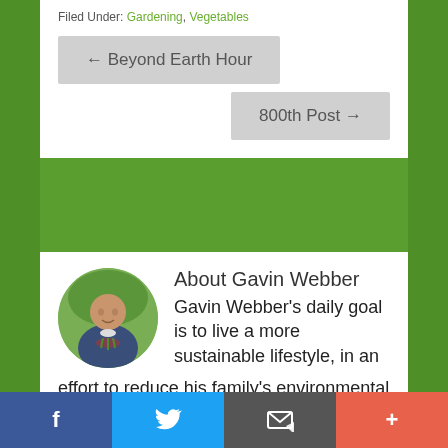Filed Under: Gardening, Vegetables
← Beyond Earth Hour
800th Post →
[Figure (photo): Circular portrait photo of Gavin Webber holding vegetables in a garden]
About Gavin Webber
Gavin Webber's daily goal is to live a more sustainable lifestyle, in an effort to reduce his family's environmental footprint so we can all make a difference for our children & future generations to
f  (Twitter bird icon)  (email icon)  +